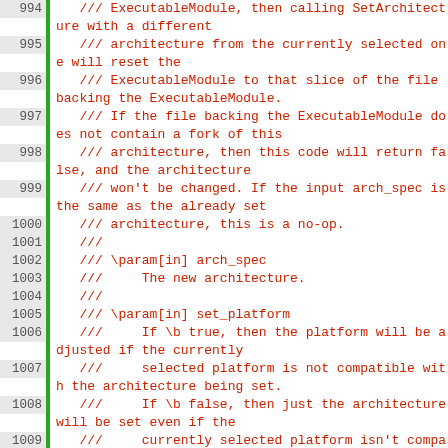Source code listing, lines 994-1015, showing C++ documentation comments and function declaration for SetArchitecture method.